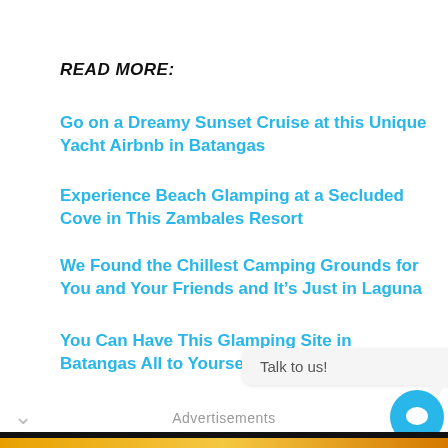READ MORE:
Go on a Dreamy Sunset Cruise at this Unique Yacht Airbnb in Batangas
Experience Beach Glamping at a Secluded Cove in This Zambales Resort
We Found the Chillest Camping Grounds for You and Your Friends and It’s Just in Laguna
You Can Have This Glamping Site in Batangas All to Yourself for P4900 a Night
Talk to us!
Advertisements